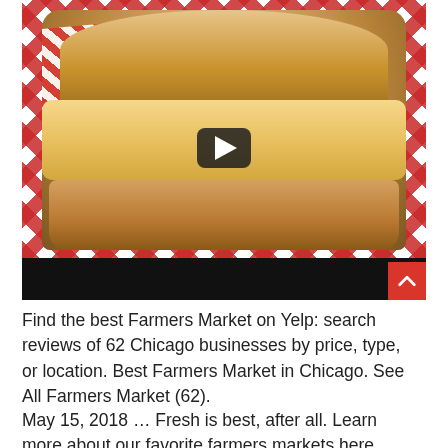[Figure (photo): A photo of a sandwich with melted cheese on a red and white checkered paper/tablecloth, with a video play button overlay and a black bar at the bottom of the video frame.]
Find the best Farmers Market on Yelp: search reviews of 62 Chicago businesses by price, type, or location. Best Farmers Market in Chicago. See All Farmers Market (62).
May 15, 2018 … Fresh is best, after all. Learn more about our favorite farmers markets here.